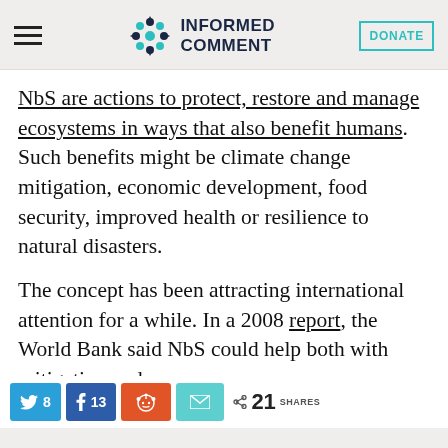INFORMED COMMENT
NbS are actions to protect, restore and manage ecosystems in ways that also benefit humans. Such benefits might be climate change mitigation, economic development, food security, improved health or resilience to natural disasters.
The concept has been attracting international attention for a while. In a 2008 report, the World Bank said NbS could help both with mitigation and
Twitter: 8, Facebook: 13, Reddit share, Email share — 21 SHARES